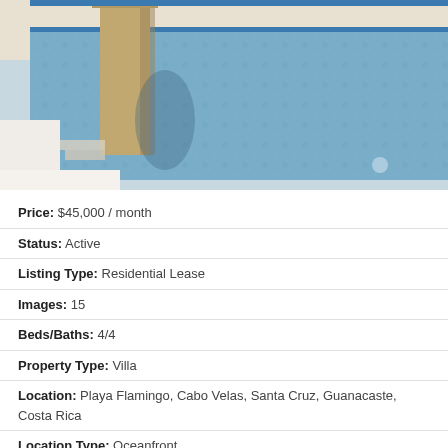[Figure (photo): Outdoor infinity pool with a stone/concrete pillar feature in the foreground, blue water, white deck surround, and a light stone wall in background]
Price: $45,000 / month
Status: Active
Listing Type: Residential Lease
Images: 15
Beds/Baths: 4/4
Property Type: Villa
Location: Playa Flamingo, Cabo Velas, Santa Cruz, Guanacaste, Costa Rica
Location Type: Oceanfront
View Type: Beach View, Greenbelt View, Ocean View, Wooded View
Total Lot Size: 10.00 m² (107.64 sq ft)